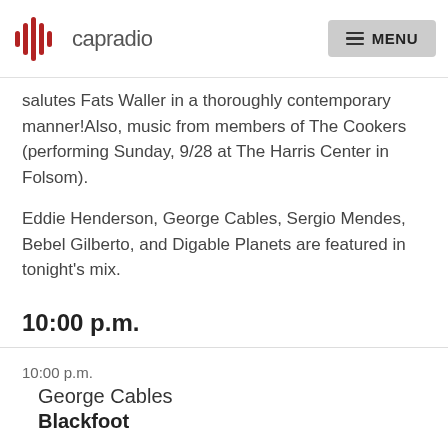capradio  MENU
salutes Fats Waller in a thoroughly contemporary manner!Also, music from members of The Cookers (performing Sunday, 9/28 at The Harris Center in Folsom).
Eddie Henderson, George Cables, Sergio Mendes, Bebel Gilberto, and Digable Planets are featured in tonight's mix.
10:00 p.m.
10:00 p.m.
George Cables
Blackfoot